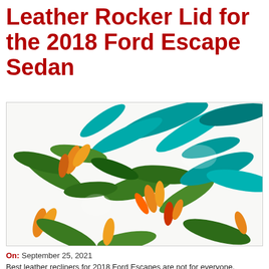Leather Rocker Lid for the 2018 Ford Escape Sedan
[Figure (photo): Close-up photo of white fabric with tropical floral pattern featuring orange and yellow bird-of-paradise flowers with green and teal leaves]
On: September 25, 2021
Best leather recliners for 2018 Ford Escapes are not for everyone.